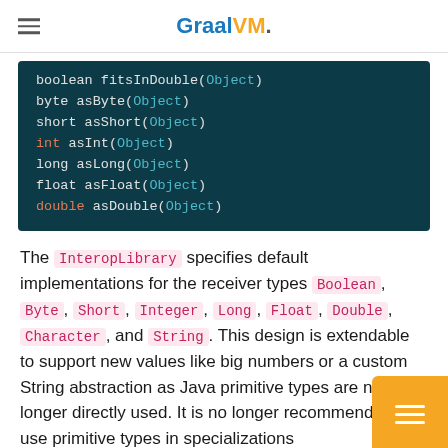GraalVM.
[Figure (screenshot): Dark teal code block showing Java-like method signatures: boolean fitsInDouble(Object), byte asByte(Object), short asShort(Object), int asInt(Object), long asLong(Object), float asFloat(Object), double asDouble(Object)]
The InteropLibrary specifies default implementations for the receiver types Boolean, Byte, Short, Integer, Long, Float, Double, Character, and String. This design is extendable to support new values like big numbers or a custom String abstraction as Java primitive types are no longer directly used. It is no longer recommended to use primitive types in specializations